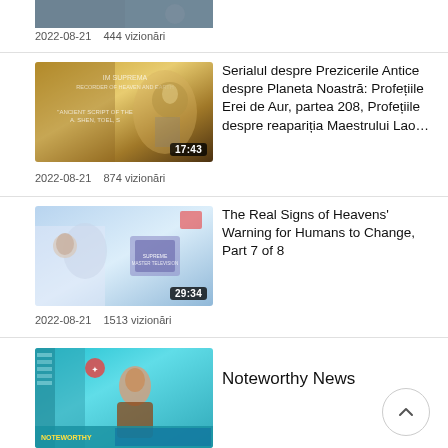[Figure (screenshot): Partial thumbnail of a video at the top, cropped]
2022-08-21    444 vizionări
[Figure (screenshot): Video thumbnail with ancient-style illustration (Lao Tzu figure, golden art), duration 17:43]
Serialul despre Prezicerile Antice despre Planeta Noastră: Profețiile Erei de Aur, partea 208, Profețiile despre reapariția Maestrului Lao…
2022-08-21    874 vizionări
[Figure (screenshot): Video thumbnail showing a woman presenter with floral arrangement, duration 29:34]
The Real Signs of Heavens' Warning for Humans to Change, Part 7 of 8
2022-08-21    1513 vizionări
[Figure (screenshot): Video thumbnail showing a news anchor man in a teal/aqua news studio]
Noteworthy News